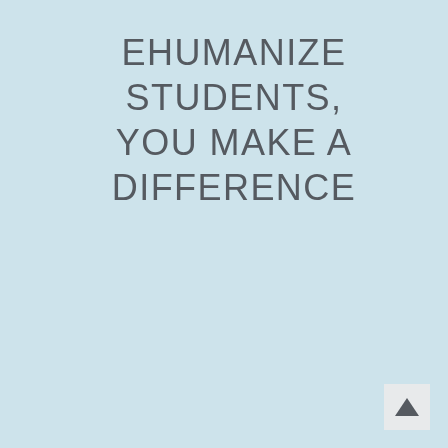EHUMANIZE STUDENTS, YOU MAKE A DIFFERENCE
[Figure (other): Small upward-pointing triangle arrow button in bottom-right corner on a light grey background]